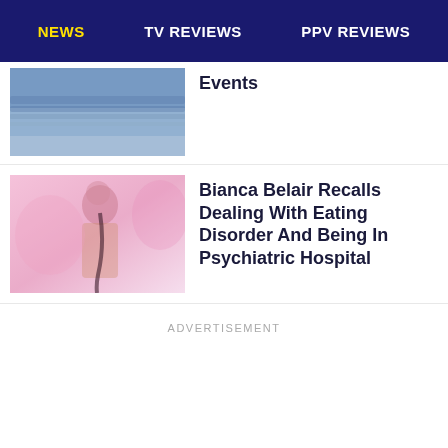NEWS   TV REVIEWS   PPV REVIEWS
[Figure (photo): Crowd at a wrestling/sports event, stadium audience shot from above]
Events
[Figure (photo): Bianca Belair WWE wrestler performing on stage with pink/purple lighting]
Bianca Belair Recalls Dealing With Eating Disorder And Being In Psychiatric Hospital
ADVERTISEMENT